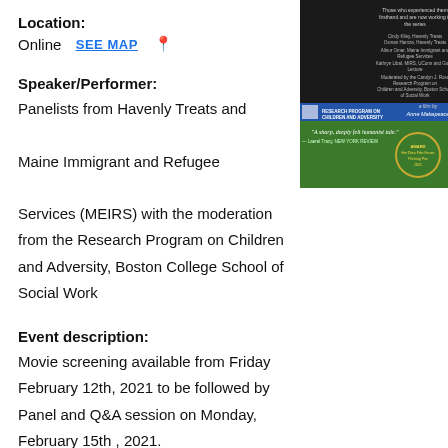Location:
Online  SEE MAP 📍
[Figure (photo): Movie poster for a film by Anne Makepeace, showing a documentary about Somali Bantu refugees. Green and dark background with text about Research Program on Children and Adversity. Includes award laurels and a quote: 'A sharp, deeply felt humanist tale.']
Speaker/Performer:
Panelists from Havenly Treats and Maine Immigrant and Refugee Services (MEIRS) with the moderation from the Research Program on Children and Adversity, Boston College School of Social Work
Event description:
Movie screening available from Friday February 12th, 2021 to be followed by Panel and Q&A session on Monday, February 15th , 2021.
In 2004, thirteen thousand Somali Bantu refugees realized their dream of coming to America. They are now...